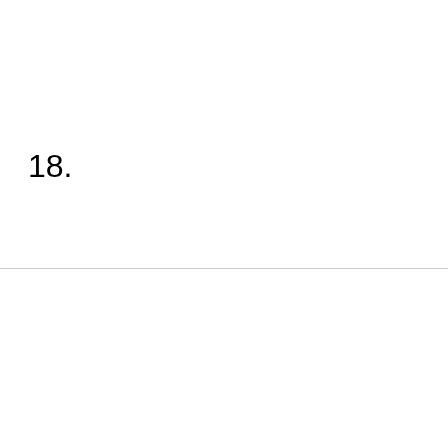18.
We use cookies on our website to give you the most relevant experience by remembering your preferences and repeat visits. By clicking “Accept All”, you consent to the use of ALL the cookies. However, you may visit "Cookie Settings" to provide a controlled consent.
Cookie Settings   Accept All